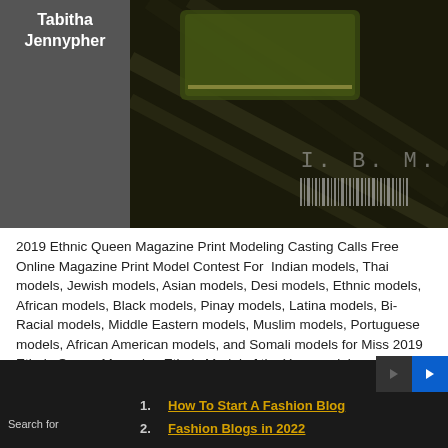[Figure (photo): Magazine cover or blog header image with dark background. Left portion shows a gray panel with white bold text 'Tabitha Jennypher'. Right portion shows a dark styled product/fashion photo with green object and barcode in bottom right corner with 'I.B.M.' text.]
2019 Ethnic Queen Magazine Print Modeling Casting Calls Free Online Magazine Print Model Contest For  Indian models, Thai models, Jewish models, Asian models, Desi models, Ethnic models, African models, Black models, Pinay models, Latina models, Bi-Racial models, Middle Eastern models, Muslim models, Portuguese models, African American models, and Somali models for Miss 2019 Ethnic Queen Magazine Ethnic Model of the Year model search worldwide for all gorgeous and glamorous aspiring ethnic femal
Read more…
Tags: 9, 2019, African, American, Angeles, Atlanta, CA, Chicago, European, FL, Free, GA,
Search for
1. How To Start A Fashion Blog
2. Fashion Blogs in 2022